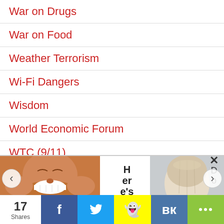War on Drugs
War on Food
Weather Terrorism
Wi-Fi Dangers
Wisdom
World Economic Forum
WTC (9/11)
Zephyr Prayers
Zika Virus
[Figure (photo): Ad strip with a laughing person on the left, text 'Here's' in center, and a close-up photo of a fingernail on the right. Navigation arrows on sides.]
17 Shares | Facebook | Twitter | Snapchat | VK | Share